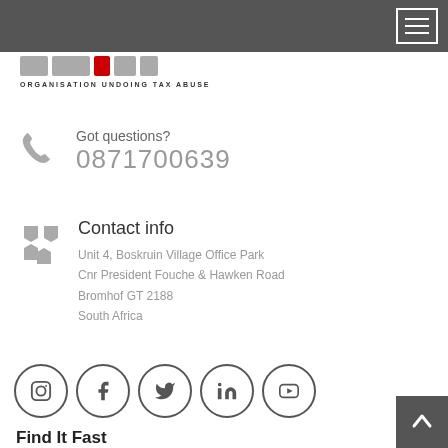[Figure (logo): OUTA logo with coloured boxes and text ORGANISATION UNDOING TAX ABUSE]
Got questions?
0871700639
Contact info
Unit 4, Boskruin Village Office Park
Cnr President Fouche & Hawken Road
Bromhof GT 2188
South Africa
[Figure (illustration): Social media icons in circles: Instagram, Facebook, Twitter, LinkedIn, YouTube]
Find It Fast
E-tolls
Eskom
SASSA Grants